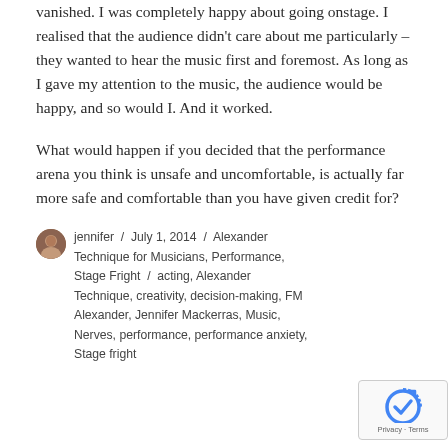vanished. I was completely happy about going onstage. I realised that the audience didn't care about me particularly – they wanted to hear the music first and foremost. As long as I gave my attention to the music, the audience would be happy, and so would I. And it worked.
What would happen if you decided that the performance arena you think is unsafe and uncomfortable, is actually far more safe and comfortable than you have given credit for?
jennifer / July 1, 2014 / Alexander Technique for Musicians, Performance, Stage Fright / acting, Alexander Technique, creativity, decision-making, FM Alexander, Jennifer Mackerras, Music, Nerves, performance, performance anxiety, Stage fright